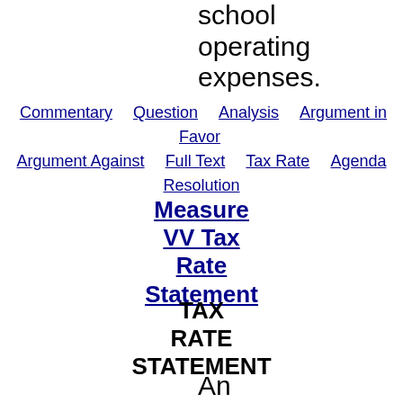school operating expenses.
Commentary  Question  Analysis  Argument in Favor  Argument Against  Full Text  Tax Rate  Agenda  Resolution
Measure VV Tax Rate Statement
TAX RATE STATEMENT
An election will be held in